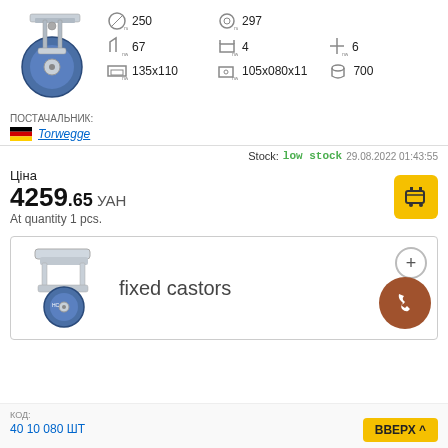[Figure (photo): Blue rubber swivel castor wheel with metal mounting plate, viewed from the side]
250
297
67
4
6
135x110
105x080x11
700
ПОСТАЧАЛЬНИК:
[Figure (logo): German flag icon]
Torwegge
Stock: low stock 29.08.2022 01:43:55
Ціна
4259.65 УАН
At quantity 1 pcs.
[Figure (photo): Blue rubber fixed castor wheel with stainless steel bracket]
fixed castors
КОД:
40 10 080 ШТ
ВВЕРХ ^